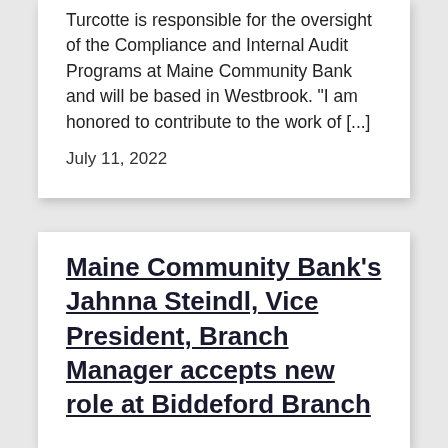Turcotte is responsible for the oversight of the Compliance and Internal Audit Programs at Maine Community Bank and will be based in Westbrook. “I am honored to contribute to the work of […]
July 11, 2022
Maine Community Bank’s Jahnna Steindl, Vice President, Branch Manager accepts new role at Biddeford Branch